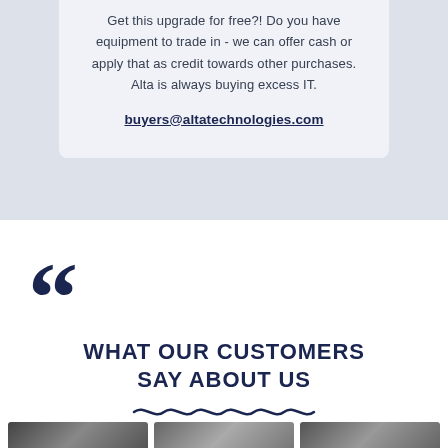Get this upgrade for free?! Do you have equipment to trade in - we can offer cash or apply that as credit towards other purchases. Alta is always buying excess IT.
buyers@altatechnologies.com
[Figure (illustration): Large dark navy blue opening quotation mark decorative element]
WHAT OUR CUSTOMERS SAY ABOUT US
[Figure (illustration): Wavy decorative underline in dark navy blue]
[Figure (photo): Three partially visible portrait photos at the bottom of the page]